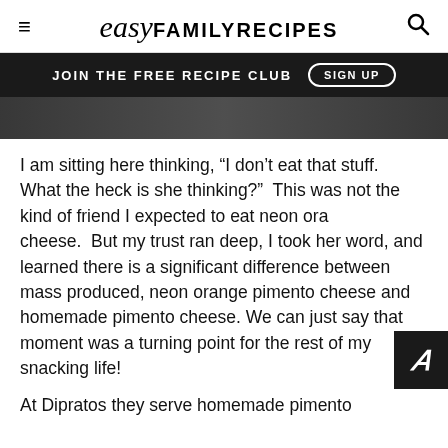≡  easy FAMILY RECIPES  🔍
JOIN THE FREE RECIPE CLUB  SIGN UP
[Figure (photo): Partial photo strip of food, dark background]
I am sitting here thinking, "I don't eat that stuff.  What the heck is she thinking?"  This was not the kind of friend I expected to eat neon orange cheese.  But my trust ran deep, I took her word, and learned there is a significant difference between mass produced, neon orange pimento cheese and homemade pimento cheese. We can just say that moment was a turning point for the rest of my snacking life!
At Dipratos they serve homemade pimento cheese, which became fundamental building block...